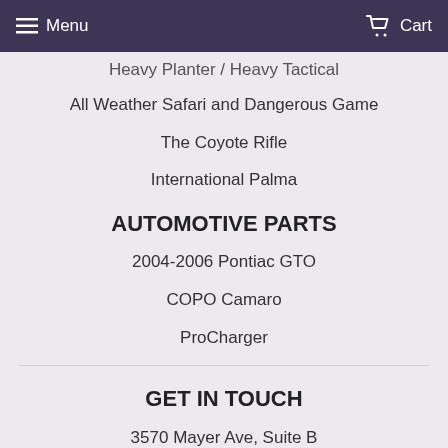Menu  Cart
Heavy Planter / Heavy Tactical
All Weather Safari and Dangerous Game
The Coyote Rifle
International Palma
AUTOMOTIVE PARTS
2004-2006 Pontiac GTO
COPO Camaro
ProCharger
GET IN TOUCH
3570 Mayer Ave, Suite B
Sturgis, SD 57785
Phone: 605.490.2561